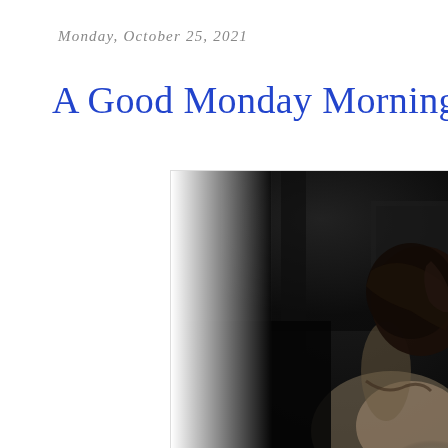Monday, October 25, 2021
A Good Monday Morning
[Figure (photo): Black and white photograph showing the back of a person's head and upper back/shoulder, with dark hair in an updo, taken in a dimly lit room with dark walls and some artwork visible in the background. The image is high contrast with deep shadows.]